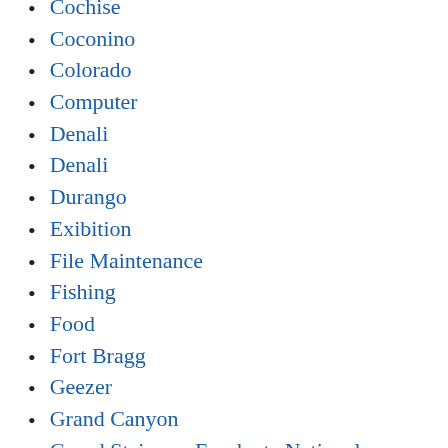Cochise
Coconino
Colorado
Computer
Denali
Denali
Durango
Exibition
File Maintenance
Fishing
Food
Fort Bragg
Geezer
Grand Canyon
Grand Staircase Escalante National Monument
Health C…